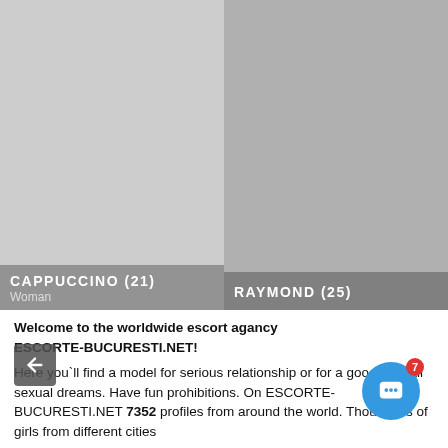[Figure (photo): Two profile photo cards side by side. Left card shows 'CAPPUCCINO (21) Woman', right card shows 'RAYMOND (25)'. Both are gray placeholder images with name overlays at the bottom.]
Welcome to the worldwide escort agancy ESCORTE-BUCURESTI.NET! Here you`ll find a model for serious relationship or for a good sex. All sexual dreams. Have fun prohibitions. On ESCORTE-BUCURESTI.NET 7352 profiles from around the world. Thousands of girls from different cities